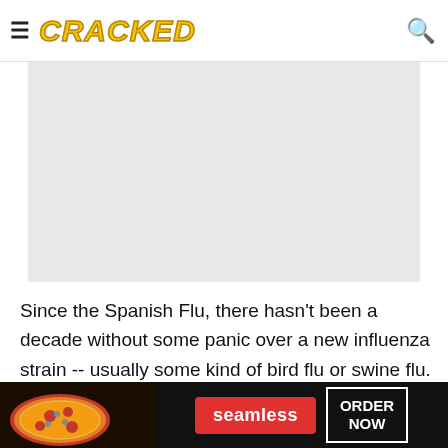CRACKED
[Figure (photo): Gray placeholder image area for an article image]
Since the Spanish Flu, there hasn't been a decade without some panic over a new influenza strain -- usually some kind of bird flu or swine flu. Right now, the U.S. Centers for Disease Control and Prevention
[Figure (other): Seamless food delivery advertisement banner with pizza image, Seamless logo, and ORDER NOW button]